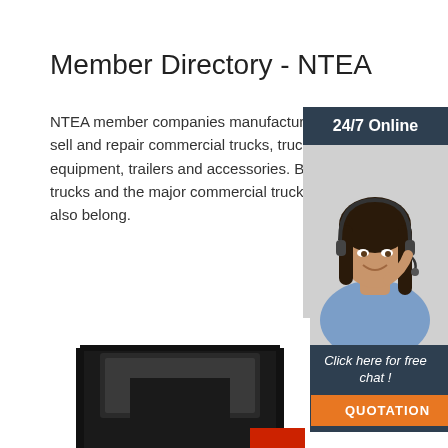Member Directory - NTEA
NTEA member companies manufacture, distribute, sell and repair commercial trucks, truck bodies, equipment, trailers and accessories. Buyers of trucks and the major commercial truck chassis also belong.
[Figure (infographic): Customer service agent widget with '24/7 Online' header, photo of smiling woman with headset, 'Click here for free chat!' text, and orange QUOTATION button]
Get Price
[Figure (photo): Partial view of a utility vehicle or truck cab from below, mostly black frame visible at bottom of page]